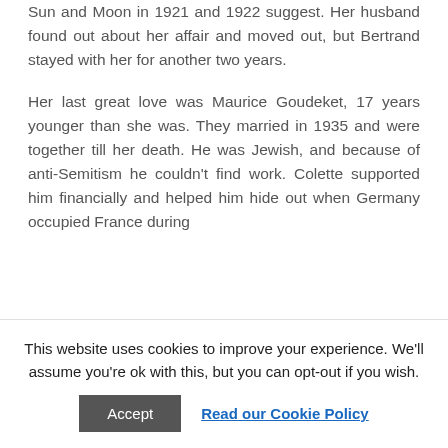Sun and Moon in 1921 and 1922 suggest. Her husband found out about her affair and moved out, but Bertrand stayed with her for another two years.
Her last great love was Maurice Goudeket, 17 years younger than she was. They married in 1935 and were together till her death. He was Jewish, and because of anti-Semitism he couldn't find work. Colette supported him financially and helped him hide out when Germany occupied France during
This website uses cookies to improve your experience. We'll assume you're ok with this, but you can opt-out if you wish.